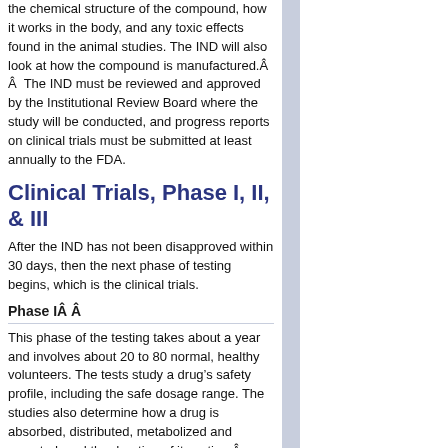the chemical structure of the compound, how it works in the body, and any toxic effects found in the animal studies. The IND will also look at how the compound is manufactured.Â Â  The IND must be reviewed and approved by the Institutional Review Board where the study will be conducted, and progress reports on clinical trials must be submitted at least annually to the FDA.
Clinical Trials, Phase I, II, & III
After the IND has not been disapproved within 30 days, then the next phase of testing begins, which is the clinical trials.
Phase IÂ Â
This phase of the testing takes about a year and involves about 20 to 80 normal, healthy volunteers. The tests study a drug's safety profile, including the safe dosage range. The studies also determine how a drug is absorbed, distributed, metabolized and excreted, and the duration of its action.Â
Phase IIÂ
In this phase, controlled studies of approximately